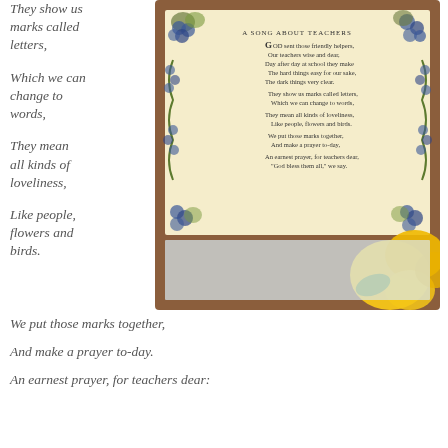They show us marks called letters,
Which we can change to words,
They mean all kinds of loveliness,
Like people, flowers and birds.
[Figure (photo): A framed poem titled 'A Song About Teachers' with a decorative floral border of grapevines and flowers, next to a yellow flower on a light blue cloth surface.]
We put those marks together,
And make a prayer to-day.
An earnest prayer, for teachers dear: